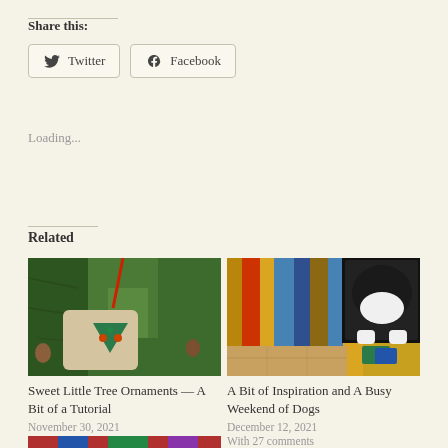Share this:
[Figure (screenshot): Twitter and Facebook share buttons with icons]
Loading...
Related
[Figure (photo): Christmas tree ornament - Sweet Little Tree Ornaments]
[Figure (photo): Dog on colorful striped rug - A Bit of Inspiration and A Busy Weekend of Dogs]
Sweet Little Tree Ornaments — A Bit of a Tutorial
November 30, 2021
With 25 comments
A Bit of Inspiration and A Busy Weekend of Dogs
December 12, 2021
With 27 comments